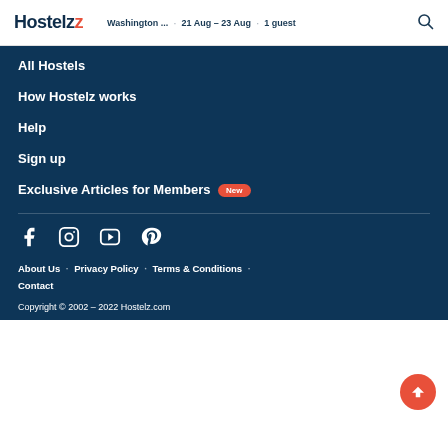Hostelz · Washington... · 21 Aug - 23 Aug · 1 guest
All Hostels
How Hostelz works
Help
Sign up
Exclusive Articles for Members [New]
[Figure (other): Social media icons: Facebook, Instagram, YouTube, Pinterest]
About Us · Privacy Policy · Terms & Conditions · Contact
Copyright © 2002 – 2022 Hostelz.com